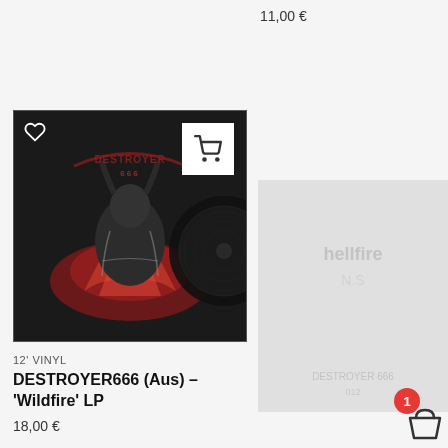11,00 €
[Figure (photo): Album cover for DESTROYER666 Wildfire LP vinyl record, dark artwork with demonic creature and red lettering, with vinyl record partially visible]
12' VINYL
DESTROYER666 (Aus) – 'Wildfire' LP
18,00 €
[Figure (photo): Partially visible faded product image on right side of page]
1